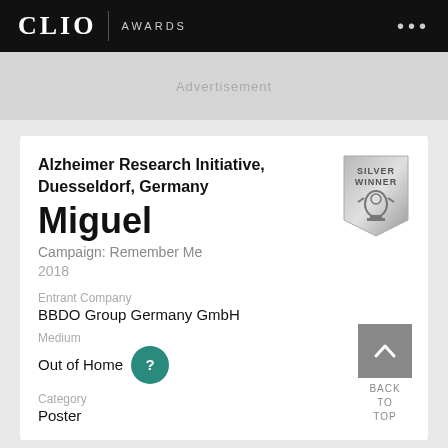CLIO AWARDS
Advertisement
Alzheimer Research Initiative, Duesseldorf, Germany
Miguel
Campaign: Remember Me
2018
Entrant Company
BBDO Group Germany GmbH
Medium
Out of Home
Category
Poster